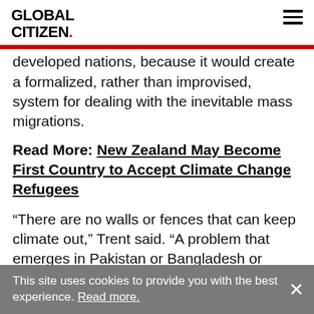GLOBAL CITIZEN.
developed nations, because it would create a formalized, rather than improvised, system for dealing with the inevitable mass migrations.
Read More: New Zealand May Become First Country to Accept Climate Change Refugees
“There are no walls or fences that can keep climate out,” Trent said. “A problem that emerges in Pakistan or Bangladesh or some parts of Sub-Saharan Africa through droughts or floods is really quite likely to impact us in the US or Western Europe.”
This site uses cookies to provide you with the best experience. Read more.